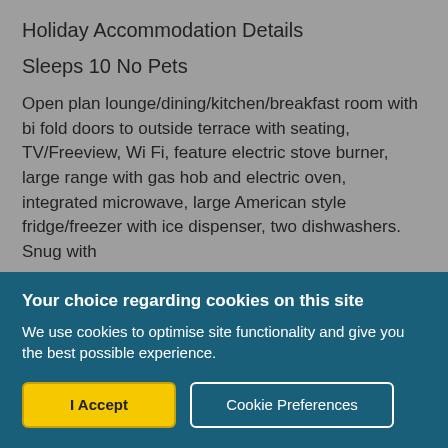Holiday Accommodation Details
Sleeps 10 No Pets
Open plan lounge/dining/kitchen/breakfast room with bi fold doors to outside terrace with seating, TV/Freeview, Wi Fi, feature electric stove burner, large range with gas hob and electric oven, integrated microwave, large American style fridge/freezer with ice dispenser, two dishwashers. Snug with
Your choice regarding cookies on this site
We use cookies to optimise site functionality and give you the best possible experience.
I Accept
Cookie Preferences